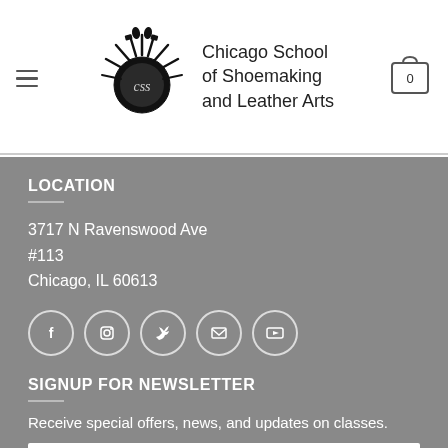Chicago School of Shoemaking and Leather Arts
LOCATION
3717 N Ravenswood Ave
#113
Chicago, IL 60613
[Figure (illustration): Social media icons: Facebook, Instagram, Twitter, Email, YouTube — circular outlined icons on grey background]
SIGNUP FOR NEWSLETTER
Receive special offers, news, and updates on classes.
email address input field